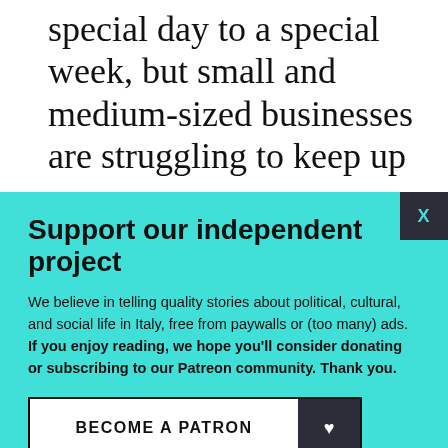special day to a special week, but small and medium-sized businesses are struggling to keep up
Support our independent project
We believe in telling quality stories about political, cultural, and social life in Italy, free from paywalls or (too many) ads. If you enjoy reading, we hope you'll consider donating or subscribing to our Patreon community. Thank you.
BECOME A PATRON
DONATE
Follow us: Facebook Instagram Twitter